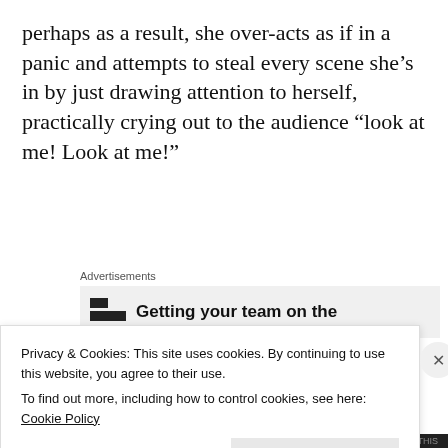perhaps as a result, she over-acts as if in a panic and attempts to steal every scene she's in by just drawing attention to herself, practically crying out to the audience “look at me! Look at me!”
[Figure (other): Advertisement block with icon and partial text 'Getting your team on the']
I cannot understand why she wasn’t asked to dial it down somewhat. Maybe you didn’t do that with
Privacy & Cookies: This site uses cookies. By continuing to use this website, you agree to their use.
To find out more, including how to control cookies, see here: Cookie Policy